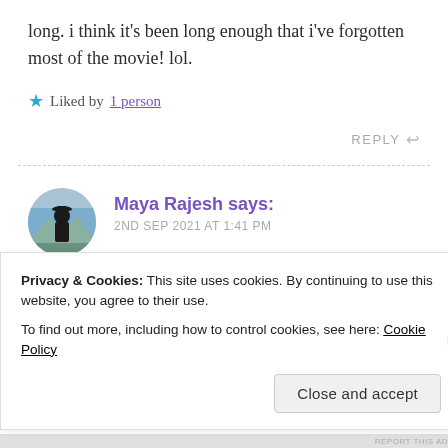long. i think it's been long enough that i've forgotten most of the movie! lol.
★ Liked by 1 person
REPLY ↩
Maya Rajesh says:
2ND SEP 2021 AT 1:41 PM
haha. well i really hope you like it!
Privacy & Cookies: This site uses cookies. By continuing to use this website, you agree to their use.
To find out more, including how to control cookies, see here: Cookie Policy
Close and accept